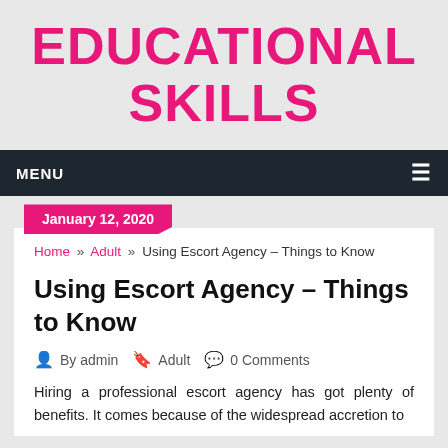EDUCATIONAL SKILLS
MENU ≡
January 12, 2020
Home » Adult » Using Escort Agency – Things to Know
Using Escort Agency – Things to Know
By admin   Adult   0 Comments
Hiring a professional escort agency has got plenty of benefits. It comes because of the widespread accretion to